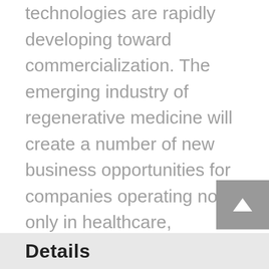technologies are rapidly developing toward commercialization. The emerging industry of regenerative medicine will create a number of new business opportunities for companies operating not only in healthcare, pharmaceutical, and biotechnology fields, but also in chemical, material, device/machinery, IT, logistics, and even cosmetics. The 2015 World Alliance Forum in San Francisco provides its attendees an excellent networking and business development opportunity. Fore more details or to register please click here
Details